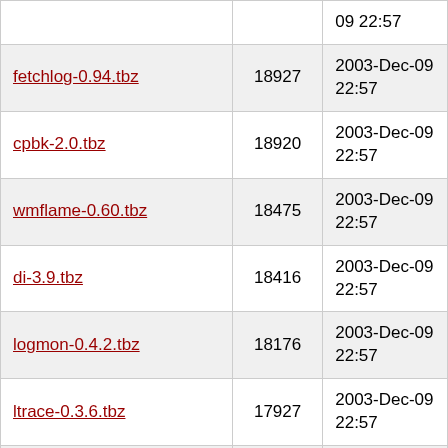| Name | Size | Date |
| --- | --- | --- |
| fetchlog-0.94.tbz | 18927 | 2003-Dec-09 22:57 |
| cpbk-2.0.tbz | 18920 | 2003-Dec-09 22:57 |
| wmflame-0.60.tbz | 18475 | 2003-Dec-09 22:57 |
| di-3.9.tbz | 18416 | 2003-Dec-09 22:57 |
| logmon-0.4.2.tbz | 18176 | 2003-Dec-09 22:57 |
| ltrace-0.3.6.tbz | 17927 | 2003-Dec-09 22:57 |
| rc_subr-1.16.tbz | 17854 | 2003-Dec-09 22:57 |
| and-1.0.9.tbz | 17848 | 2003-Dec-09 22:57 |
| wmcpuload-1.0.1.tbz | 17794 | 2003-Dec-09 22:57 |
| gkrellflynn-0.6.tbz | 17740 | 2003-Dec-09 22:57 |
| metalog-0.7.1.tbz | 17739 | 2003-Dec- |